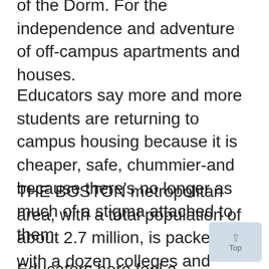of the Dorm. For the independence and adventure of off-campus apartments and houses.
Educators say more and more students are returning to campus housing because it is cheaper, safe, chummier-and because there's no longer as much of a stigma attached to them.
THE BOSTON metropolitan area, with a total population of about 2.7 million, is packed with a dozen colleges and more than 10,000 students.
Educators here feel a local trend reflec- to national attitudes. And they see the